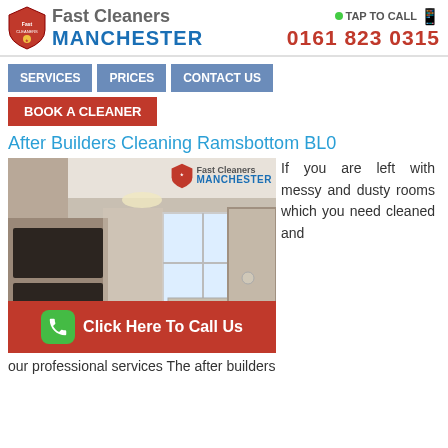[Figure (logo): Fast Cleaners Manchester shield logo with brand name and phone number header]
Fast Cleaners MANCHESTER | TAP TO CALL 0161 823 0315
SERVICES
PRICES
CONTACT US
BOOK A CLEANER
After Builders Cleaning Ramsbottom BL0
[Figure (photo): Interior photo of a renovated room with kitchen visible in background, natural light from window, with Fast Cleaners Manchester logo overlay and Click Here To Call Us CTA button]
If you are left with messy and dusty rooms which you need cleaned and
our professional services The after builders